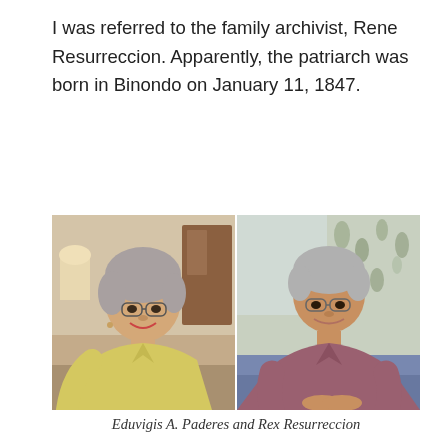I was referred to the family archivist, Rene Resurreccion. Apparently, the patriarch was born in Binondo on January 11, 1847.
[Figure (photo): Side-by-side photos: left shows an elderly Filipino woman with gray hair, glasses, and a yellow short-sleeve blouse, smiling indoors; right shows an elderly Filipino man with gray hair, glasses, and a mauve/dark pink polo shirt, seated and smiling indoors near a floral curtain.]
Eduvigis A. Paderes and Rex Resurreccion